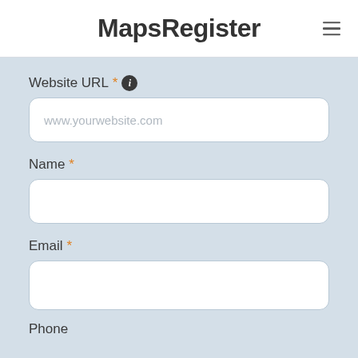MapsRegister
Website URL * (info)
www.yourwebsite.com
Name *
Email *
Phone